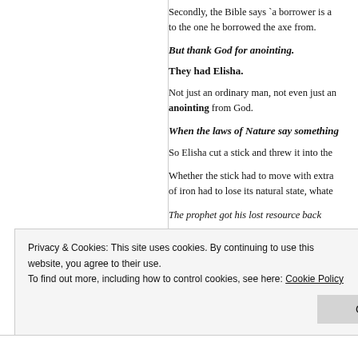Secondly, the Bible says `a borrower is a to the one he borrowed the axe from.
But thank God for anointing.
They had Elisha.
Not just an ordinary man, not even just an anointing from God.
When the laws of Nature say something
So Elisha cut a stick and threw it into the
Whether the stick had to move with extra of iron had to lose its natural state, whate
The prophet got his lost resource back
Privacy & Cookies: This site uses cookies. By continuing to use this website, you agree to their use. To find out more, including how to control cookies, see here: Cookie Policy
Close and accept